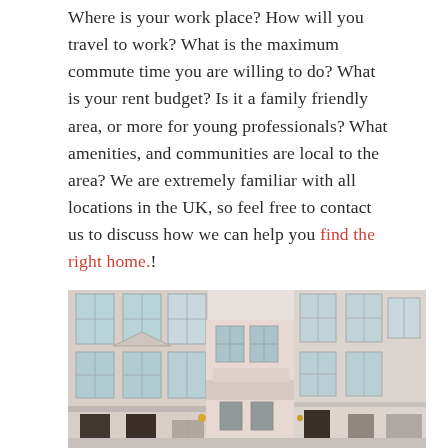Where is your work place? How will you travel to work? What is the maximum commute time you are willing to do? What is your rent budget? Is it a family friendly area, or more for young professionals? What amenities, and communities are local to the area? We are extremely familiar with all locations in the UK, so feel free to contact us to discuss how we can help you find the right home.!
[Figure (photo): Photograph of white/cream coloured Georgian or Victorian terraced townhouses with ornate architectural details, balconies, and large sash windows, viewed from street level looking upward.]